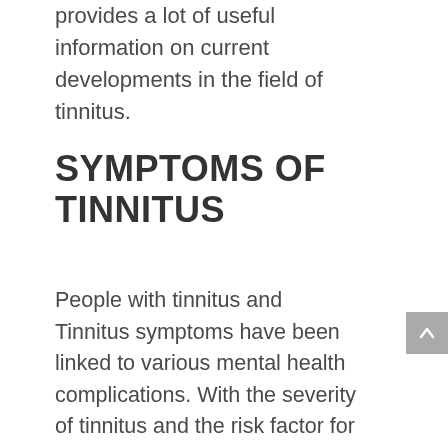provides a lot of useful information on current developments in the field of tinnitus.
SYMPTOMS OF TINNITUS
People with tinnitus and Tinnitus symptoms have been linked to various mental health complications. With the severity of tinnitus and the risk factor for tinnitus, many people are considered a threat for developing mental health issues if they develop tinnitus